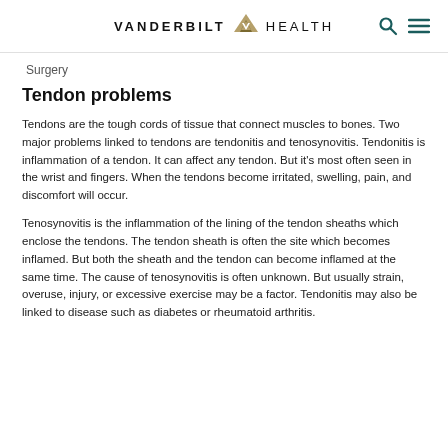VANDERBILT HEALTH
Surgery
Tendon problems
Tendons are the tough cords of tissue that connect muscles to bones. Two major problems linked to tendons are tendonitis and tenosynovitis. Tendonitis is inflammation of a tendon. It can affect any tendon. But it's most often seen in the wrist and fingers. When the tendons become irritated, swelling, pain, and discomfort will occur.
Tenosynovitis is the inflammation of the lining of the tendon sheaths which enclose the tendons. The tendon sheath is often the site which becomes inflamed. But both the sheath and the tendon can become inflamed at the same time. The cause of tenosynovitis is often unknown. But usually strain, overuse, injury, or excessive exercise may be a factor. Tendonitis may also be linked to disease such as diabetes or rheumatoid arthritis.